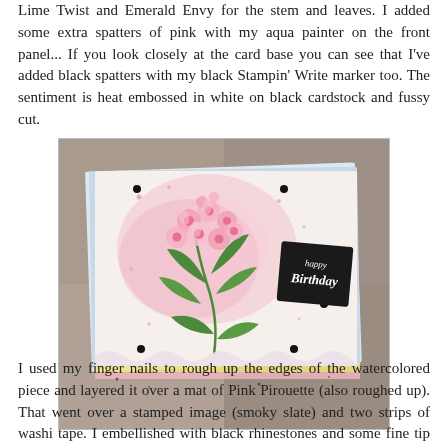Lime Twist and Emerald Envy for the stem and leaves. I added some extra spatters of pink with my aqua painter on the front panel... If you look closely at the card base you can see that I've added black spatters with my black Stampin' Write marker too. The sentiment is heat embossed in white on black cardstock and fussy cut.
[Figure (photo): A handmade birthday card featuring pink watercolor flowers and green leaves with a 'happy birthday' sentiment embossed in white on black cardstock. The card is layered over pink and white mats with a decorative lace border, set against a stone background.]
I used my finger nails to rough up the edges of the watercolored piece and layered it over a mat of Pink Pirouette (also roughed up). That went over a stamped image (smoky slate) and two strips of washi tape. I embellished with black rhinestones and some fine tip glue on